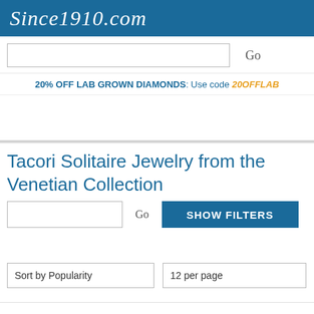Since1910.com
20% OFF LAB GROWN DIAMONDS: Use code 20OFFLAB
Tacori Solitaire Jewelry from the Venetian Collection
Go   SHOW FILTERS
Sort by Popularity   12 per page